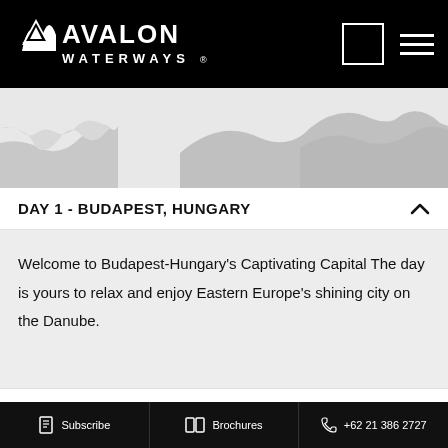[Figure (logo): Avalon Waterways logo — white text and wave/mountain icon on black background]
[Figure (map): Greyscale silhouette map/terrain image showing landscape]
DAY 1 - BUDAPEST, HUNGARY
Welcome to Budapest-Hungary's Captivating Capital The day is yours to relax and enjoy Eastern Europe's shining city on the Danube.
DAY 2 - BUDAPEST (EMBARKATION)
Subscribe   Brochures   +62 21 386 2727